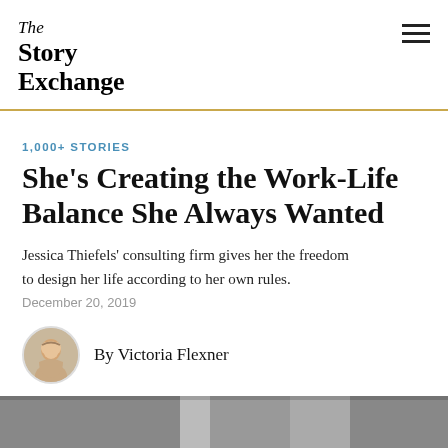The Story Exchange
1,000+ STORIES
She's Creating the Work-Life Balance She Always Wanted
Jessica Thiefels' consulting firm gives her the freedom to design her life according to her own rules.
December 20, 2019
By Victoria Flexner
[Figure (photo): Bottom portion of page showing a partially visible photograph]